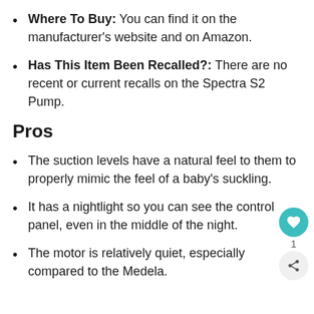Where To Buy: You can find it on the manufacturer's website and on Amazon.
Has This Item Been Recalled?: There are no recent or current recalls on the Spectra S2 Pump.
Pros
The suction levels have a natural feel to them to properly mimic the feel of a baby's suckling.
It has a nightlight so you can see the control panel, even in the middle of the night.
The motor is relatively quiet, especially compared to the Medela.